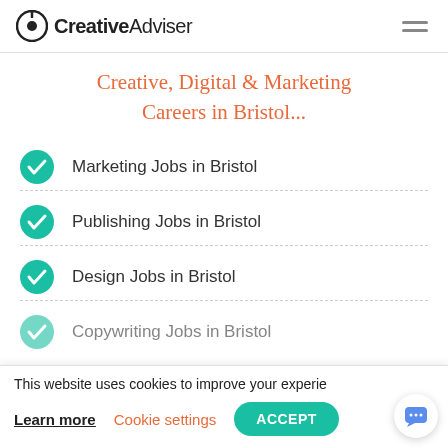CreativeAdviser
Creative, Digital & Marketing Careers in Bristol...
Marketing Jobs in Bristol
Publishing Jobs in Bristol
Design Jobs in Bristol
Copywriting Jobs in Bristol
This website uses cookies to improve your experie
Learn more   Cookie settings   ACCEPT